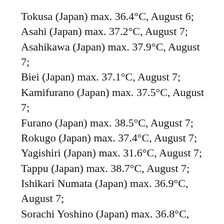Tokusa (Japan) max. 36.4°C, August 6;
Asahi (Japan) max. 37.2°C, August 7;
Asahikawa (Japan) max. 37.9°C, August 7;
Biei (Japan) max. 37.1°C, August 7;
Kamifurano (Japan) max. 37.5°C, August 7;
Furano (Japan) max. 38.5°C, August 7;
Rokugo (Japan) max. 37.4°C, August 7;
Yagishiri (Japan) max. 31.6°C, August 7;
Tappu (Japan) max. 38.7°C, August 7;
Ishikari Numata (Japan) max. 36.9°C, August 7;
Sorachi Yoshino (Japan) max. 36.8°C, August 7;
Horonuka (Japan) max. 35.9°C, August 7;
Kashiwazaki (Japan) max. 38.1°C, August 7;
Wassamu (Japan) max. 36.8°C, August 7;